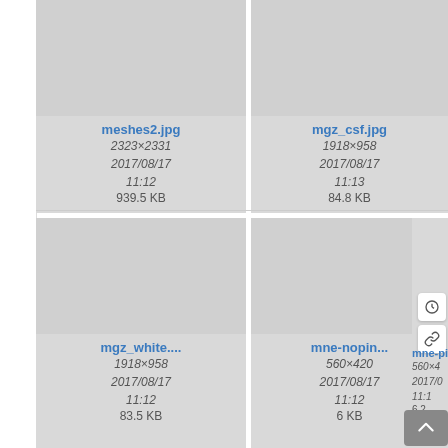[Figure (screenshot): File browser grid showing image thumbnails with filenames, dimensions, dates, and sizes. Row 1: meshes2.jpg (2323×2331, 2017/08/17 11:12, 939.5 KB), mgz_csf.jpg (1918×958, 2017/08/17 11:13, 84.8 KB), mgz_gr... (partially visible, 1918×..., 2017/0... 11:1..., 88.1...). Row 2: mgz_white.... (1918×958, 2017/08/17 11:12, 83.5 KB), mne-nopin... (560×420, 2017/08/17 11:12, 6 KB), mne-pi... (partially visible, 560×4..., 2017/0... 11:1..., 6.2...). Partial row 3 at bottom. Scroll-to-top button at bottom right.]